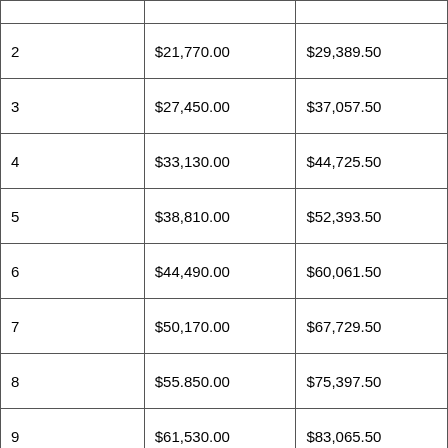|  |  |  |
| --- | --- | --- |
| 2 | $21,770.00 | $29,389.50 |
| 3 | $27,450.00 | $37,057.50 |
| 4 | $33,130.00 | $44,725.50 |
| 5 | $38,810.00 | $52,393.50 |
| 6 | $44,490.00 | $60,061.50 |
| 7 | $50,170.00 | $67,729.50 |
| 8 | $55.850.00 | $75,397.50 |
| 9 | $61,530.00 | $83,065.50 |
| 10 | $67,210.00 | $90,733.50 |
| Additional | $5,680.00 | $7,668.00 |